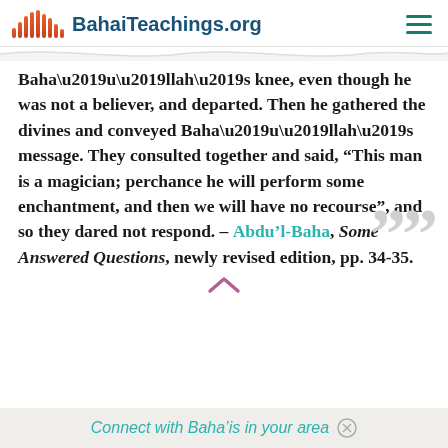BahaiTeachings.org
Baha’u’llah’s knee, even though he was not a believer, and departed. Then he gathered the divines and conveyed Baha’u’llah’s message. They consulted together and said, “This man is a magician; perchance he will perform some enchantment, and then we will have no recourse”, and so they dared not respond. – Abdu’l-Baha, Some Answered Questions, newly revised edition, pp. 34-35.
Connect with Baha’is in your area